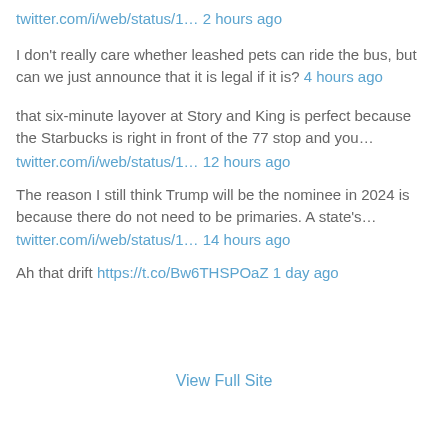twitter.com/i/web/status/1… 2 hours ago
I don't really care whether leashed pets can ride the bus, but can we just announce that it is legal if it is? 4 hours ago
that six-minute layover at Story and King is perfect because the Starbucks is right in front of the 77 stop and you… twitter.com/i/web/status/1… 12 hours ago
The reason I still think Trump will be the nominee in 2024 is because there do not need to be primaries. A state's… twitter.com/i/web/status/1… 14 hours ago
Ah that drift https://t.co/Bw6THSPOaZ 1 day ago
View Full Site